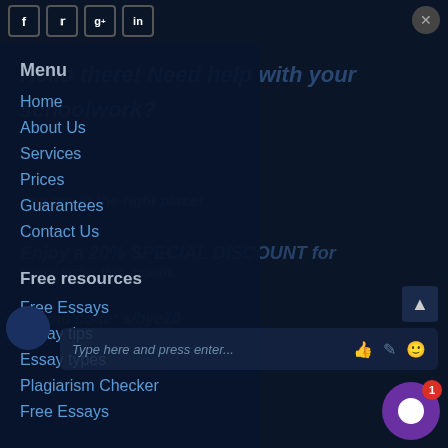Social icons: f, Twitter, g+, in — and close button
Menu
Home
About Us
Services
Prices
Guarantees
Contact Us
Free resources
Free Essays
Essay tips
Essay types
Plagiarism Checker
Free Essays
Hello there! Need help with your schoolwork? You are in the right place! Enjoy a 20% SPECIAL DISCOUNT for every order this month. Promo code: s/bye20
Type here and press enter...